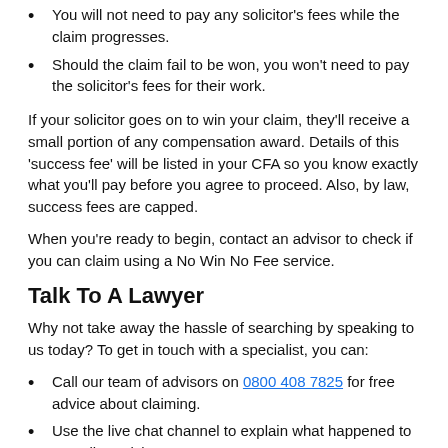You will not need to pay any solicitor's fees while the claim progresses.
Should the claim fail to be won, you won't need to pay the solicitor's fees for their work.
If your solicitor goes on to win your claim, they'll receive a small portion of any compensation award. Details of this 'success fee' will be listed in your CFA so you know exactly what you'll pay before you agree to proceed. Also, by law, success fees are capped.
When you're ready to begin, contact an advisor to check if you can claim using a No Win No Fee service.
Talk To A Lawyer
Why not take away the hassle of searching by speaking to us today? To get in touch with a specialist, you can:
Call our team of advisors on 0800 408 7825 for free advice about claiming.
Use the live chat channel to explain what happened to an online advisor.
Ask to be called back when it's convenient by completing our enquiry form.